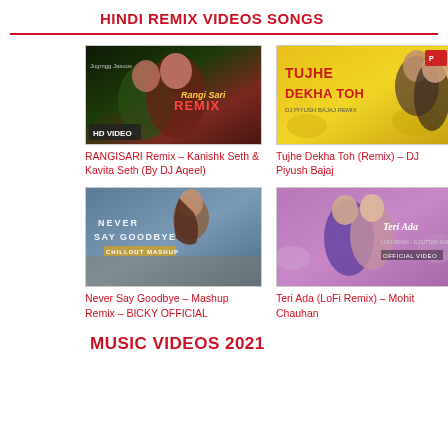HINDI REMIX VIDEOS SONGS
[Figure (photo): Thumbnail for RANGISARI Remix music video showing a couple in dark greenish tones with Rangi Sari Remix HD Video text overlay]
RANGISARI Remix – Kanishk Seth & Kavita Seth (By DJ Aqeel)
[Figure (photo): Thumbnail for Tujhe Dekha Toh Remix showing couple on yellow background with bold text Tujhe Dekha Toh and DJ Piyush Bajaj Remix]
Tujhe Dekha Toh (Remix) – DJ Piyush Bajaj
[Figure (photo): Thumbnail for Never Say Goodbye Chillout Mashup showing woman with long hair in a field, text Never Say Goodbye Chillout Mashup]
Never Say Goodbye – Mashup Remix – BICKY OFFICIAL
[Figure (photo): Thumbnail for Teri Ada LoFi Remix showing couple embracing in purple/pink tones with Teri Ada Official Video text]
Teri Ada (LoFi Remix) – Mohit Chauhan
MUSIC VIDEOS 2021